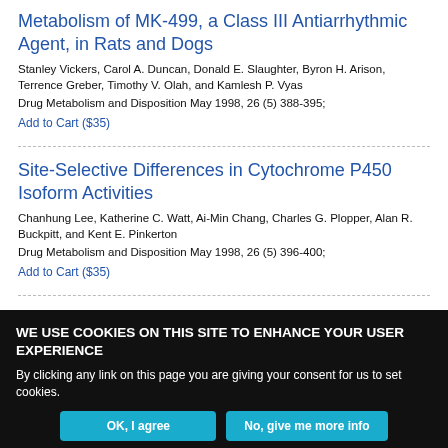Metabolism of MK-499, a Class III Antiarrhythmic Agent, in Rats and Dogs
Stanley Vickers, Carol A. Duncan, Donald E. Slaughter, Byron H. Arison, Terrence Greber, Timothy V. Olah, and Kamlesh P. Vyas
Drug Metabolism and Disposition May 1998, 26 (5) 388-395;
Add to Cart ($35)
Site-Selective Differences in Cytochrome P450 Isoform Activities
Chanhung Lee, Katherine C. Watt, Ai-Min Chang, Charles G. Plopper, Alan R. Buckpitt, and Kent E. Pinkerton
Drug Metabolism and Disposition May 1998, 26 (5) 396-400;
Add to Cart ($35)
WE USE COOKIES ON THIS SITE TO ENHANCE YOUR USER EXPERIENCE
By clicking any link on this page you are giving your consent for us to set cookies.